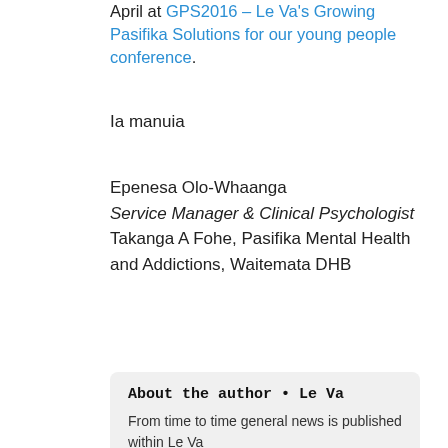April at GPS2016 – Le Va's Growing Pasifika Solutions for our young people conference.
Ia manuia
Epenesa Olo-Whaanga
Service Manager & Clinical Psychologist
Takanga A Fohe, Pasifika Mental Health and Addictions, Waitemata DHB
About the author • Le Va
From time to time general news is published within Le Va
Read more